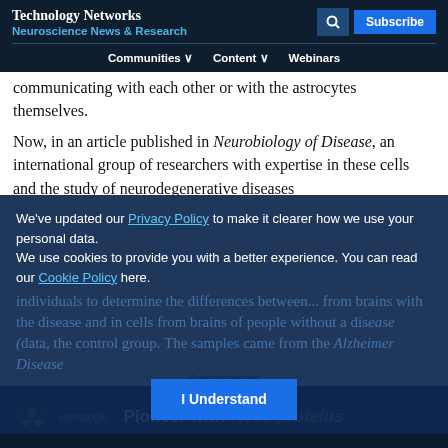Technology Networks
Neuroscience News & Research
communicating with each other or with the astrocytes themselves.
Now, in an article published in Neurobiology of Disease, an international group of researchers with expertise in these cells and the study of neurodegenerative diseases
We've updated our Privacy Policy to make it clearer how we use your personal data.
We use cookies to provide you with a better experience. You can read our Cookie Policy here.
individuals to determine the differences between... from brains with the disease and in cells from brains of people without a disease (data, the control group. The samples came from the Alzheimer Disease
[Figure (advertisement): Somalogic advertisement: Pioneer with 7,000 proteins]